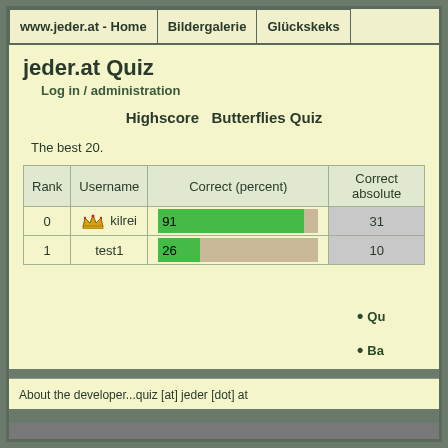www.jeder.at - Home | Bildergalerie | Glückskeks
jeder.at Quiz
Log in / administration
Highscore   Butterflies Quiz
The best 20.
| Rank | Username | Correct (percent) | Correct absolute |
| --- | --- | --- | --- |
| 0 | 👑 kilrei | 91 | 31 |
| 1 | test1 | 26 | 10 |
Qu
Ba
About the developer...quiz [at] jeder [dot] at